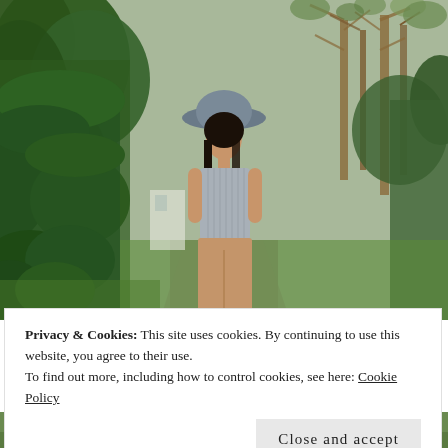[Figure (photo): A young woman wearing a light blue/grey sleeveless ribbed top, khaki/tan wide-leg trousers, and a grey wide-brim hat, walking along a garden path surrounded by lush green trees, hedges, and grass.]
Privacy & Cookies: This site uses cookies. By continuing to use this website, you agree to their use.
To find out more, including how to control cookies, see here: Cookie Policy
[Figure (photo): Bottom sliver of another outdoor photo showing green grass and garden scenery.]